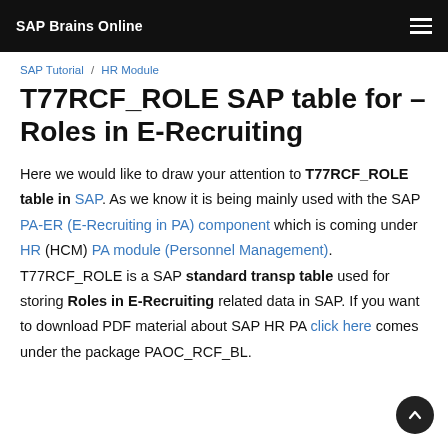SAP Brains Online
SAP Tutorial / HR Module
T77RCF_ROLE SAP table for – Roles in E-Recruiting
Here we would like to draw your attention to T77RCF_ROLE table in SAP. As we know it is being mainly used with the SAP PA-ER (E-Recruiting in PA) component which is coming under HR (HCM) PA module (Personnel Management). T77RCF_ROLE is a SAP standard transp table used for storing Roles in E-Recruiting related data in SAP. If you want to download PDF material about SAP HR PA click here comes under the package PAOC_RCF_BL.